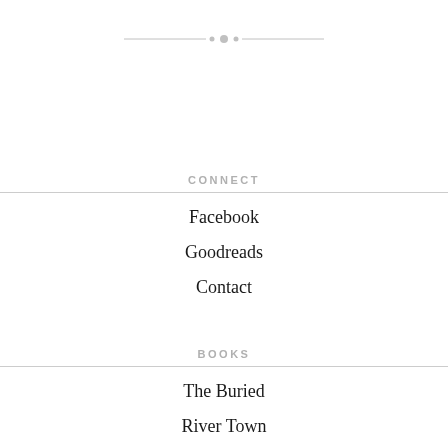[Figure (illustration): Decorative ornamental divider with small circular beads and thin horizontal lines]
CONNECT
Facebook
Goodreads
Contact
BOOKS
The Buried
River Town